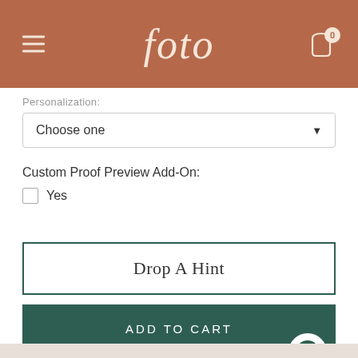[Figure (screenshot): foto e-commerce website header with terracotta/brown background, hamburger menu icon on left, 'foto' logo in center in italic serif font, shopping bag cart icon with '0' badge on right]
Personalization:
Choose one
Custom Proof Preview Add-On:
Yes
Drop A Hint
ADD TO CART